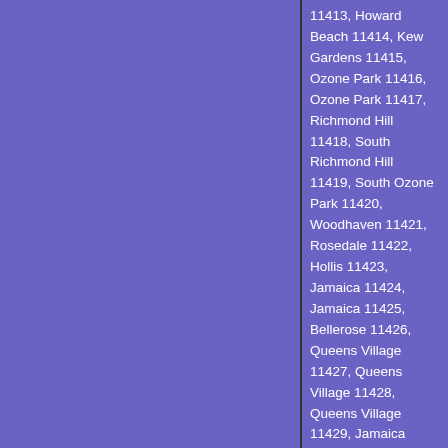11413, Howard Beach 11414, Kew Gardens 11415, Ozone Park 11416, Ozone Park 11417, Richmond Hill 11418, South Richmond Hill 11419, South Ozone Park 11420, Woodhaven 11421, Rosedale 11422, Hollis 11423, Jamaica 11424, Jamaica 11425, Bellerose 11426, Queens Village 11427, Queens Village 11428, Queens Village 11429, Jamaica 11430, Jamaica 11431, Jamaica 11432, Jamaica 11433, Jamaica 11434, Jamaica 11435, Jamaica 11436, Jamaica 11439, Jamaica 11451, Jamaica 11499, Far Rockaway 11690, Far Rockaway 11691, Arverne 11692, Far Rockaway 11693, Rockaway Park 11694, Far Rockaway 11695, Breezy Point 11697, Floral Park 11005, Floral Park